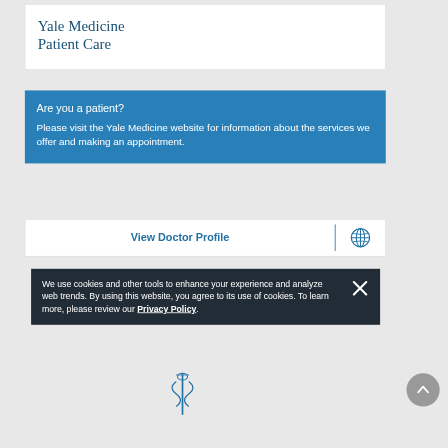Yale Medicine Patient Care
Are you a patient?
Please visit the Yale Medicine website for information about the services we offer and making an appointment.
View Doctor Profile
We use cookies and other tools to enhance your experience and analyze web trends. By using this website, you agree to its use of cookies. To learn more, please review our Privacy Policy.